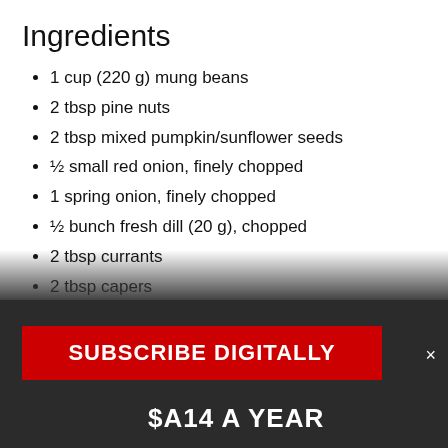Ingredients
1 cup (220 g) mung beans
2 tbsp pine nuts
2 tbsp mixed pumpkin/sunflower seeds
½ small red onion, finely chopped
1 spring onion, finely chopped
½ bunch fresh dill (20 g), chopped
2 tbsp currants
2 tbsp capers
2 tbsp extra virgin olive oil
2 tbsp lemon juice
¼ tsp [obscured]
Method
SUBSCRIBE DIGITALLY
$A14 A YEAR